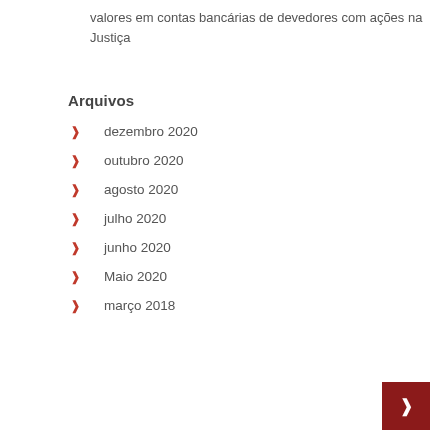valores em contas bancárias de devedores com ações na Justiça
Arquivos
dezembro 2020
outubro 2020
agosto 2020
julho 2020
junho 2020
Maio 2020
março 2018